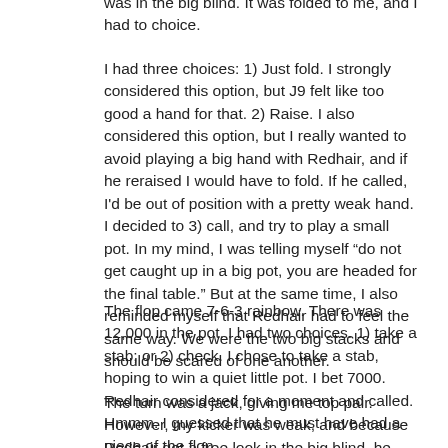was in the big blind. It was folded to me, and I had to choice.
I had three choices: 1) Just fold. I strongly considered this option, but J9 felt like too good a hand for that. 2) Raise. I also considered this option, but I really wanted to avoid playing a big hand with Redhair, and if he reraised I would have to fold. If he called, I'd be out of position with a pretty weak hand. I decided to 3) call, and try to play a small pot. In my mind, I was telling myself "do not get caught up in a big pot, you are headed for the final table." But at the same time, I also reminded myself that Redhair had to feel the same way. We were the two big stacks and should be scared of one another.
The flop came 7-6-3 rainbow. There was 12,000 in the pot. I had two choices. 1) take a stab; or 2) check. I chose to take a stab, hoping to win a quiet little pot. I bet 7000. Redhair considered for a moment and called. Hmmm. I guessed that he must have had a piece of the flop.
The turn was a jack, giving me top pair. However, my kicker was weak, and because Redhair got a free look in the big blind, he could have flopped two rag pair or a straight, both of